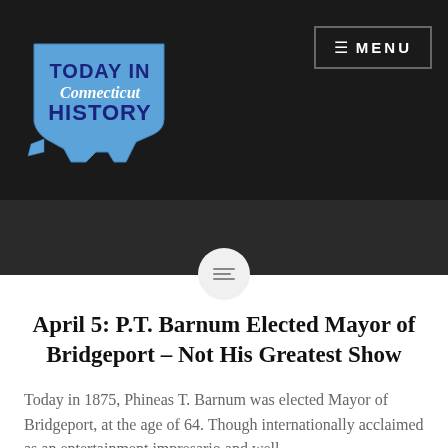[Figure (logo): Today in Connecticut History logo — blue silhouette of Connecticut state shape with text 'TODAY IN Connecticut HISTORY' in blue and white lettering]
≡ MENU
April 5: P.T. Barnum Elected Mayor of Bridgeport – Not His Greatest Show
Today in 1875, Phineas T. Barnum was elected Mayor of Bridgeport, at the age of 64. Though internationally acclaimed as an entertainment impresario and well